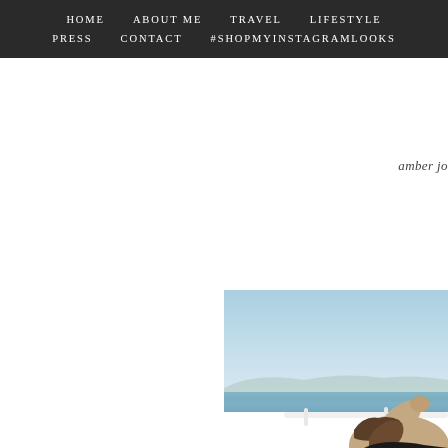HOME   ABOUT ME   TRAVEL   LIFESTYLE   PRESS   CONTACT   #SHOPMYINSTAGRAMLOOKS
amber jo...
[Figure (photo): Outdoor photo of a person with long hair raising their arm, set against a clear blue sky with the sea and distant mountains visible in the background. The image is cropped and partially cut off on the right side.]